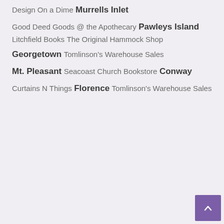Design On a Dime
Murrells Inlet
Good Deed Goods @ the Apothecary
Pawleys Island
Litchfield Books
The Original Hammock Shop
Georgetown
Tomlinson's Warehouse Sales
Mt. Pleasant
Seacoast Church Bookstore
Conway
Curtains N Things
Florence
Tomlinson's Warehouse Sales